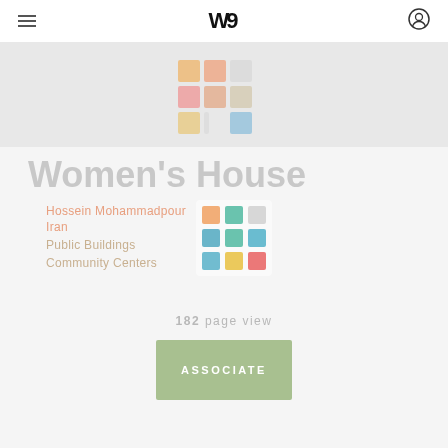W — navigation header with hamburger menu, W logo, and user icon
[Figure (illustration): Faded/watermarked image strip at top showing a colorful mosaic grid (orange, pink, teal, blue, yellow squares) on a light grey background]
Women's House
Hossein Mohammadpour
Iran
Public Buildings
Community Centers
[Figure (infographic): 3x3 grid of colored squares: orange, teal, grey (top row); teal, teal, teal (middle row); teal, yellow, red (bottom row)]
182 page view
ASSOCIATE